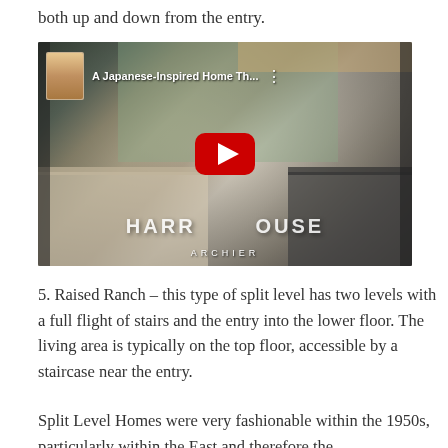both up and down from the entry.
[Figure (screenshot): YouTube video thumbnail showing a Japanese-inspired kitchen with title 'A Japanese-Inspired Home Th...' and a YouTube play button overlay, with 'HARRHOUSE' branding and 'ARCHIER' watermark at bottom]
5. Raised Ranch – this type of split level has two levels with a full flight of stairs and the entry into the lower floor. The living area is typically on the top floor, accessible by a staircase near the entry.
Split Level Homes were very fashionable within the 1950s, particularly within the East and therefore the